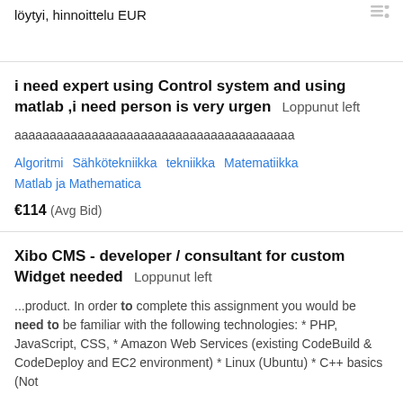löytyi, hinnoittelu EUR
i need expert using Control system and using matlab ,i need person is very urgen  Loppunut left
aaaaaaaaaaaaaaaaaaaaaaaaaaaaaaaaaaaaaaaa
Algoritmi  Sähkötekniikka  tekniikka  Matematiikka  Matlab ja Mathematica
€114  (Avg Bid)
Xibo CMS - developer / consultant for custom Widget needed  Loppunut left
...product. In order to complete this assignment you would be need to be familiar with the following technologies: * PHP, JavaScript, CSS, * Amazon Web Services (existing CodeBuild & CodeDeploy and EC2 environment) * Linux (Ubuntu) * C++ basics (Not